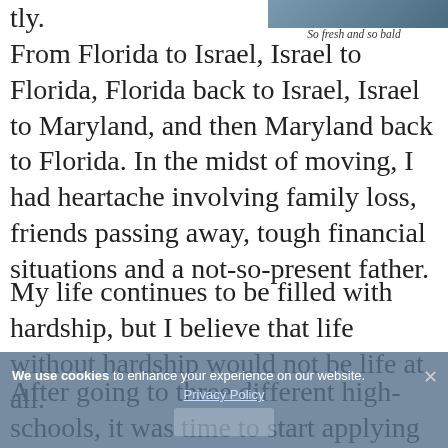[Figure (photo): Partial photo of a person, cropped at top of page, top-right area]
So fresh and so bald
tly.
From Florida to Israel, Israel to Florida, Florida back to Israel, Israel to Maryland, and then Maryland back to Florida. In the midst of moving, I had heartache involving family loss, friends passing away, tough financial situations and a not-so-present father.
My life continues to be filled with hardship, but I believe that life without hardship would not be life at all.
After going to three different high-schools, it was time to start applying to
We use cookies to enhance your experience on our website.
Privacy Policy